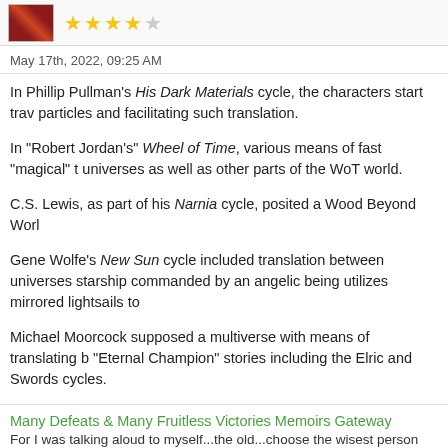[Figure (other): User avatar image (dark reddish book cover thumbnail) with 5-star rating (4 filled stars, 1 empty)]
May 17th, 2022, 09:25 AM
In Phillip Pullman's His Dark Materials cycle, the characters start trav... particles and facilitating such translation.
In "Robert Jordan's" Wheel of Time, various means of fast "magical" t... universes as well as other parts of the WoT world.
C.S. Lewis, as part of his Narnia cycle, posited a Wood Beyond Worl...
Gene Wolfe's New Sun cycle included translation between universes... starship commanded by an angelic being utilizes mirrored lightsails to...
Michael Moorcock supposed a multiverse with means of translating b... "Eternal Champion" stories including the Elric and Swords cycles.
Many Defeats & Many Fruitless Victories Memoirs Gateway
For I was talking aloud to myself...the old...choose the wisest person prese...
Find